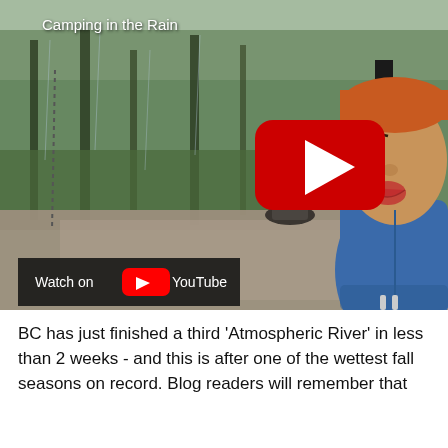[Figure (screenshot): YouTube video thumbnail showing a child in a blue puffer jacket with an orange hat, standing in a rainy campsite with tall evergreen trees in the background. Title reads 'Camping in the Rain'. A red YouTube play button is visible in the center-right. A 'Watch on YouTube' bar is at the bottom left.]
BC has just finished a third 'Atmospheric River' in less than 2 weeks - and this is after one of the wettest fall seasons on record. Blog readers will remember that